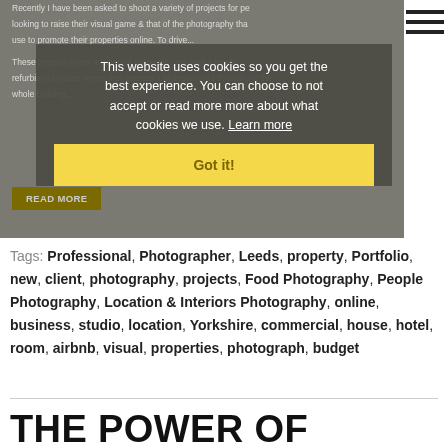[Figure (screenshot): Screenshot of a website showing article text partially obscured by a cookie consent overlay. The overlay reads 'This website uses cookies so you get the best experience. You can choose to not accept or read more more about what cookies we use. Learn more' with a yellow 'Got it!' button. Background shows article text about shooting projects and a dark olive 'READ MORE' button.]
Tags: Professional, Photographer, Leeds, property, Portfolio, new, client, photography, projects, Food Photography, People Photography, Location & Interiors Photography, online, business, studio, location, Yorkshire, commercial, house, hotel, room, airbnb, visual, properties, photograph, budget
THE POWER OF